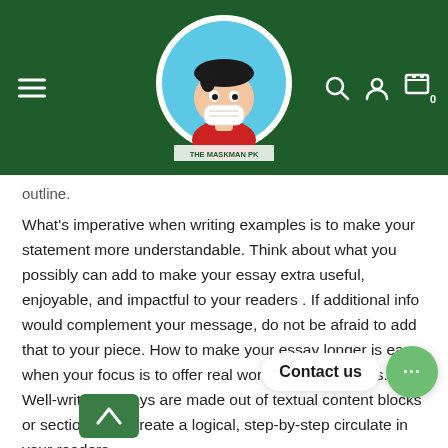[Figure (logo): The Maskman PK website header with dark green background, hamburger menu on left, circular logo of a cartoon character wearing a mask in center, and search/user/cart icons on right]
outline.
What's imperative when writing examples is to make your statement more understandable. Think about what you possibly can add to make your essay extra useful, enjoyable, and impactful to your readers . If additional info would complement your message, do not be afraid to add that to your piece. How to make your essay longer is easy when your focus is to offer real worth to your readers. Well-written essays are made out of textual content blocks or sections that create a logical, step-by-step circulate in your readers.
The length of the paragraph can differ by the style of writing.